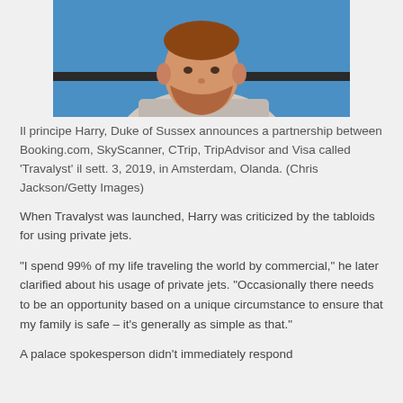[Figure (photo): Photo of Prince Harry, Duke of Sussex, a man with short reddish hair and beard wearing a light grey suit, photographed against a blue background]
Il principe Harry, Duke of Sussex announces a partnership between Booking.com, SkyScanner, CTrip, TripAdvisor and Visa called 'Travalyst' il sett. 3, 2019, in Amsterdam, Olanda. (Chris Jackson/Getty Images)
When Travalyst was launched, Harry was criticized by the tabloids for using private jets.
“I spend 99% of my life traveling the world by commercial,” he later clarified about his usage of private jets. “Occasionally there needs to be an opportunity based on a unique circumstance to ensure that my family is safe – it’s generally as simple as that.”
A palace spokesperson didn’t immediately respond